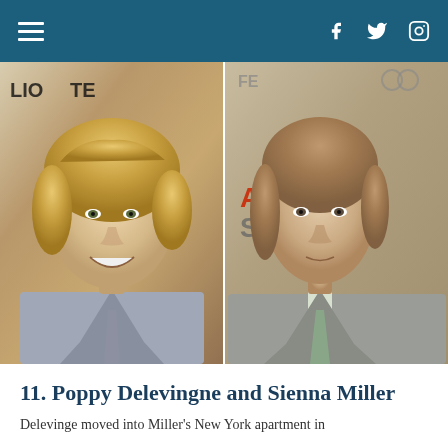Navigation menu with social icons: Facebook, Twitter, Instagram
[Figure (photo): Two side-by-side photos of men. Left photo shows a blonde man with shoulder-length wavy hair wearing a light gray suit with dark navy tie, smiling at a Lionsgate event. Right photo shows a man with medium-length auburn/brown hair wearing a gray suit with light green tie at an AFI Fest event.]
11. Poppy Delevingne and Sienna Miller
Delevinge moved into Miller's New York apartment in